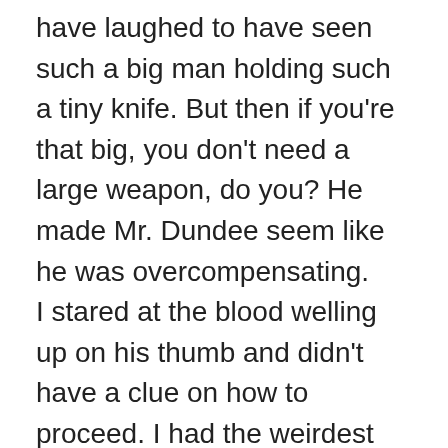have laughed to have seen such a big man holding such a tiny knife. But then if you're that big, you don't need a large weapon, do you? He made Mr. Dundee seem like he was overcompensating. I stared at the blood welling up on his thumb and didn't have a clue on how to proceed. I had the weirdest feeling he was offering me an extreme compliment, and I probably shouldn't insult him by refusing, but what was I supposed to do? I couldn't remember coming across this in Ku's book. Did he want me to cut my thumb and press it to his or what? Was I going to be blood brothers, er… blood siblings, with a god? The confusion must have shown on my face because he smiled and suddenly went all deity. He looked at me as if he was bestowing a blessing on me and I had to